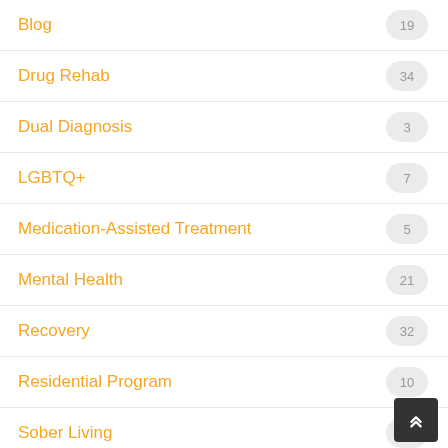Blog
Drug Rehab
Dual Diagnosis
LGBTQ+
Medication-Assisted Treatment
Mental Health
Recovery
Residential Program
Sober Living
Substance Abuse Treatment